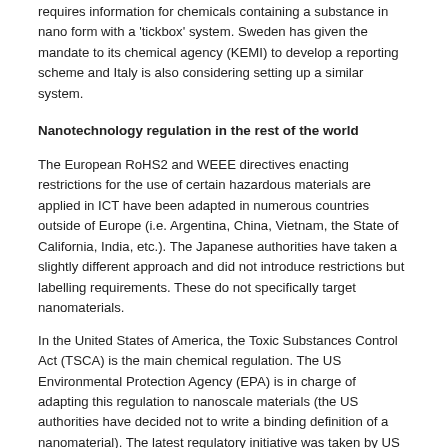requires information for chemicals containing a substance in nano form with a 'tickbox' system. Sweden has given the mandate to its chemical agency (KEMI) to develop a reporting scheme and Italy is also considering setting up a similar system.
Nanotechnology regulation in the rest of the world
The European RoHS2 and WEEE directives enacting restrictions for the use of certain hazardous materials are applied in ICT have been adapted in numerous countries outside of Europe (i.e. Argentina, China, Vietnam, the State of California, India, etc.). The Japanese authorities have taken a slightly different approach and did not introduce restrictions but labelling requirements. These do not specifically target nanomaterials.
In the United States of America, the Toxic Substances Control Act (TSCA) is the main chemical regulation. The US Environmental Protection Agency (EPA) is in charge of adapting this regulation to nanoscale materials (the US authorities have decided not to write a binding definition of a nanomaterial). The latest regulatory initiative was taken by US EPA in April 2015 with the publication of a proposed rule for section 8 (a) of TSCA. This proposal would introduce reporting and recordkeeping requirements for nanoscale materials as well as a 135-days pre-notification requirement for the manufacturers of 'chemical substances as discrete nanoscale materials'.